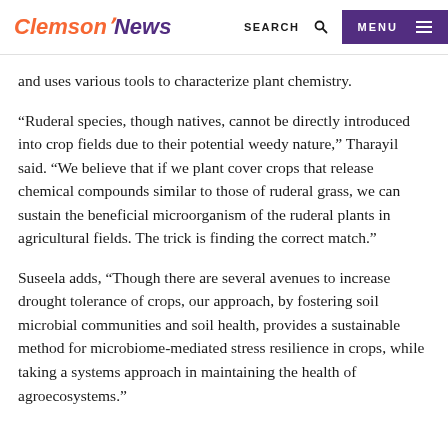Clemson News | SEARCH | MENU
and uses various tools to characterize plant chemistry.
“Ruderal species, though natives, cannot be directly introduced into crop fields due to their potential weedy nature,” Tharayil said. “We believe that if we plant cover crops that release chemical compounds similar to those of ruderal grass, we can sustain the beneficial microorganism of the ruderal plants in agricultural fields. The trick is finding the correct match.”
Suseela adds, “Though there are several avenues to increase drought tolerance of crops, our approach, by fostering soil microbial communities and soil health, provides a sustainable method for microbiome-mediated stress resilience in crops, while taking a systems approach in maintaining the health of agroecosystems.”